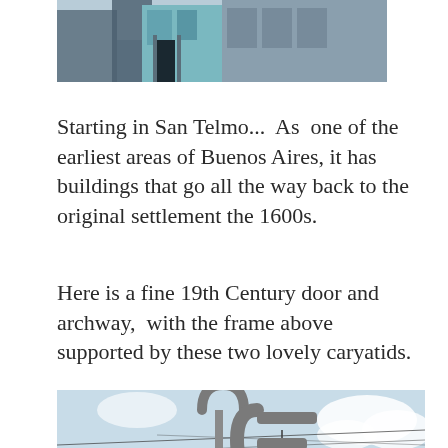[Figure (photo): Partial view of a building facade in San Telmo, Buenos Aires, showing architectural details with teal/blue tones]
Starting in San Telmo...  As  one of the earliest areas of Buenos Aires, it has buildings that go all the way back to the original settlement the 1600s.
Here is a fine 19th Century door and archway,  with the frame above supported by these two lovely caryatids.
[Figure (photo): Street-level sign in San Telmo showing metro/subway signage with distinctive curved letter C logos against a light sky with utility wires and surrounding buildings]